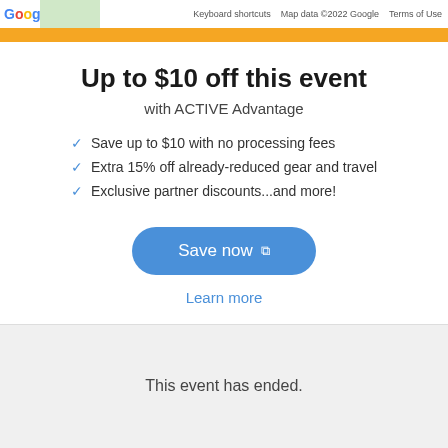Keyboard shortcuts   Map data ©2022 Google   Terms of Use
Up to $10 off this event
with ACTIVE Advantage
Save up to $10 with no processing fees
Extra 15% off already-reduced gear and travel
Exclusive partner discounts...and more!
Save now
Learn more
This event has ended.